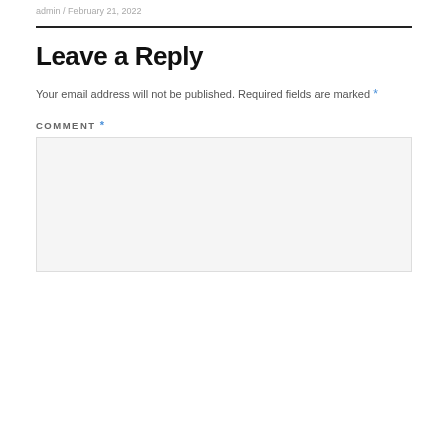admin / February 21, 2022
Leave a Reply
Your email address will not be published. Required fields are marked *
COMMENT *